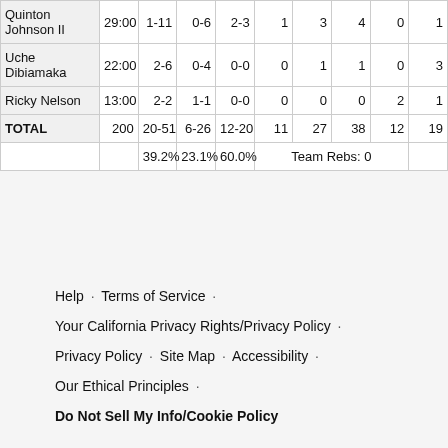| Player | MIN | FGM-A | 3PM-A | FTM-A | OREB | DREB | REB | AST | PF |
| --- | --- | --- | --- | --- | --- | --- | --- | --- | --- |
| Quinton Johnson II | 29:00 | 1-11 | 0-6 | 2-3 | 1 | 3 | 4 | 0 | 1 |
| Uche Dibiamaka | 22:00 | 2-6 | 0-4 | 0-0 | 0 | 1 | 1 | 0 | 3 |
| Ricky Nelson | 13:00 | 2-2 | 1-1 | 0-0 | 0 | 0 | 0 | 2 | 1 |
| TOTAL | 200 | 20-51 | 6-26 | 12-20 | 11 | 27 | 38 | 12 | 19 |
|  |  | 39.2% | 23.1% | 60.0% | Team Rebs: 0 |  |  |  |  |
Help · Terms of Service · Your California Privacy Rights/Privacy Policy · Privacy Policy · Site Map · Accessibility · Our Ethical Principles · Do Not Sell My Info/Cookie Policy